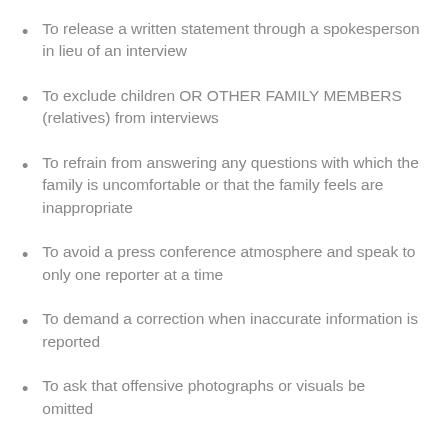To release a written statement through a spokesperson in lieu of an interview
To exclude children OR OTHER FAMILY MEMBERS (relatives) from interviews
To refrain from answering any questions with which the family is uncomfortable or that the family feels are inappropriate
To avoid a press conference atmosphere and speak to only one reporter at a time
To demand a correction when inaccurate information is reported
To ask that offensive photographs or visuals be omitted